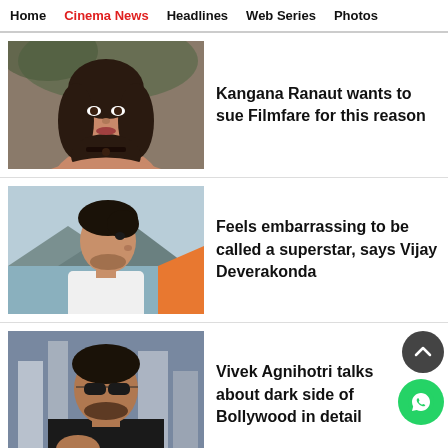Home | Cinema News | Headlines | Web Series | Photos
[Figure (photo): Photo of Kangana Ranaut, a woman with long dark hair and a choker necklace]
Kangana Ranaut wants to sue Filmfare for this reason
[Figure (photo): Photo of Vijay Deverakonda, a man in a white shirt with short hair facing sideways with mountains in background]
Feels embarrassing to be called a superstar, says Vijay Deverakonda
[Figure (photo): Photo of Vivek Agnihotri, a man in black shirt wearing sunglasses with city buildings in background]
Vivek Agnihotri talks about dark side of Bollywood in detail